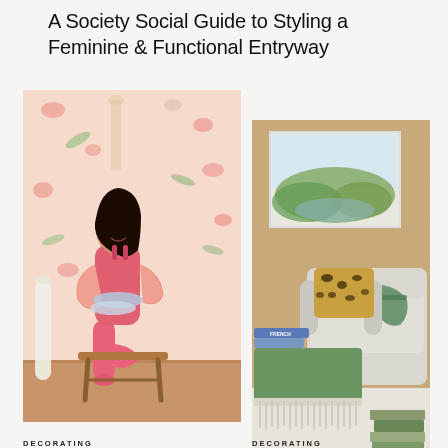A Society Social Guide to Styling a Feminine & Functional Entryway
[Figure (photo): Woman in pink outfit sitting on wooden stool against floral wallpaper, holding rolled blueprints or wallpaper samples]
[Figure (photo): Interior decorating scene with gray armchair, leopard print pillow, green velvet ottoman with fringe, watercolor landscape painting on tan wall, stacked books]
DECORATING
Roxy's Favorite Wallpaper
DECORATING